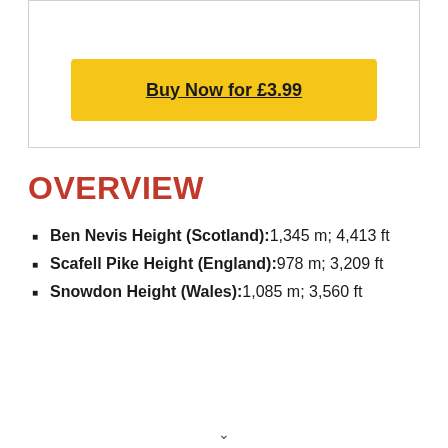Buy Now for £3.99
OVERVIEW
Ben Nevis Height (Scotland): 1,345 m; 4,413 ft
Scafell Pike Height (England): 978 m; 3,209 ft
Snowdon Height (Wales): 1,085 m; 3,560 ft